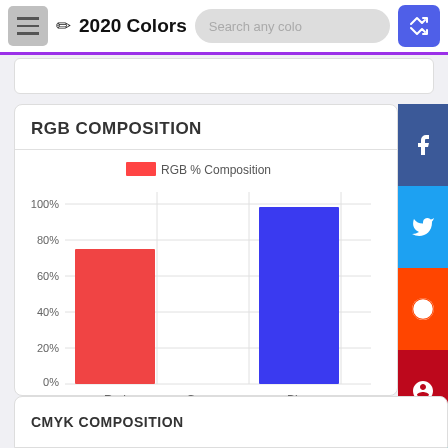2020 Colors
RGB COMPOSITION
[Figure (bar-chart): RGB % Composition]